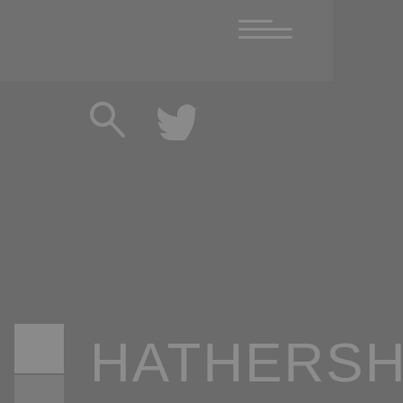[Figure (screenshot): Website header with hamburger menu icon (three horizontal lines), search icon, and Twitter bird icon on a grey background, with Hathershaw College logo (stacked squares) and college name text below]
HATHERSHAW COLLEGE